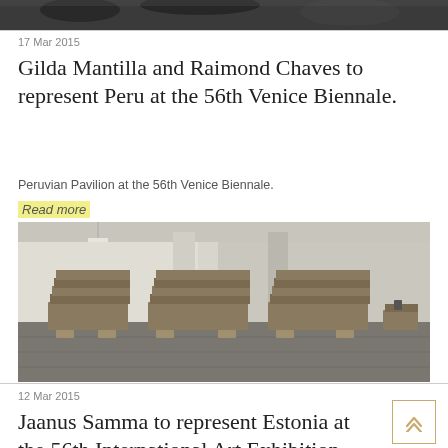[Figure (photo): Partial dark textured image at top of page, cropped]
17 Mar 2015
Gilda Mantilla and Raimond Chaves to represent Peru at the 56th Venice Biennale.
Peruvian Pavilion at the 56th Venice Biennale.
Read more
[Figure (photo): Interior gallery space with white walls and stacked brown/cardboard rectangular objects on the floor arranged in rows on wooden pallets]
12 Mar 2015
Jaanus Samma to represent Estonia at the 56th International Art Exhibition — la Biennale di Venezia.